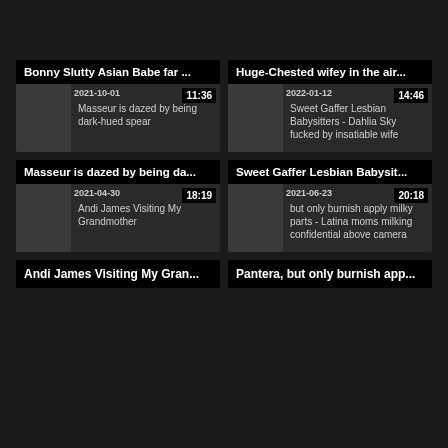[Figure (screenshot): Video thumbnail card: Bonny Slutty Asian Babe far ... | date 2021-10-01, duration 11:36, desc: Masseur is dazed by being dark-hued spear]
[Figure (screenshot): Video thumbnail card: Huge-Chested wifey in the air... | date 2022-01-12, duration 14:46, desc: Sweet Gaffer Lesbian Babysitters - Dahlia Sky fucked by insatiable wife]
[Figure (screenshot): Video thumbnail card: Masseur is dazed by being da... | date 2021-04-30, duration 18:19, desc: Andi James Visiting My Grandmother]
[Figure (screenshot): Video thumbnail card: Sweet Gaffer Lesbian Babysit... | date 2021-06-23, duration 20:18, desc: Pantera, but only burnish apply milky parts - Latina moms milking confidential above camera]
Andi James Visiting My Gran...
Pantera, but only burnish app...